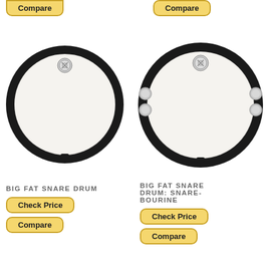[Figure (other): Top-left partial Compare button (cropped at top)]
[Figure (other): Top-right Compare button]
[Figure (photo): Big Fat Snare Drum product image – circular drum pad with black rim and clear head]
[Figure (photo): Big Fat Snare Drum: Snare-bourine product image – circular drum pad with black rim, jingle bells on sides, and clear head]
BIG FAT SNARE DRUM
Check Price
Compare
BIG FAT SNARE DRUM: SNARE-BOURINE
Check Price
Compare